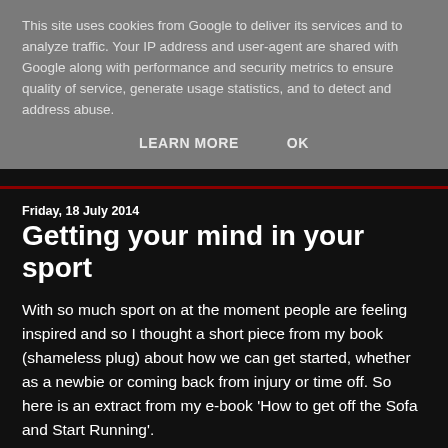This site uses cookies from Google to deliver its services and to analyze traffic. Your IP address and user-agent are shared with Google along with performance and security metrics to ensure quality of service, generate usage statistics, and to detect and address abuse.
LEARN MORE    OK
Friday, 18 July 2014
Getting your mind in your sport
With so much sport on at the moment people are feeling inspired and so I thought a short piece from my book (shameless plug) about how we can get started, whether as a newbie or coming back from injury or time off.  So here is an extract from my e-book 'How to get off the Sofa and Start Running'.
Getting your mind in your run
"There are people who have no bodies, only heads. And many athletes have no heads,